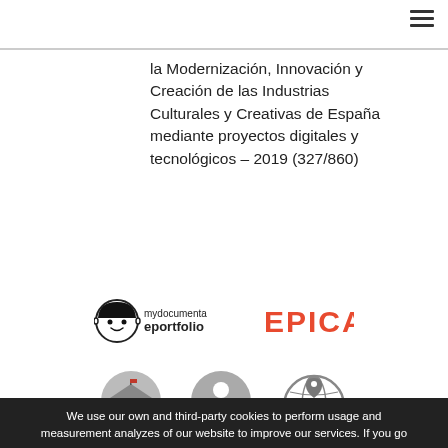la Modernización, Innovación y Creación de las Industrias Culturales y Creativas de España mediante proyectos digitales y tecnológicos – 2019 (327/860)
[Figure (logo): mydocumenta eportfolio logo — cartoon face icon with bowl cut and the text 'mydocumenta eportfolio']
[Figure (logo): EPICA logo in bold red/orange uppercase letters]
[Figure (illustration): Three circular grey icons: a school building, a person with a checkmark, and a globe with a map pin]
We use our own and third-party cookies to perform usage and measurement analyzes of our website to improve our services. If you go on using our site, we will consider you accepting it. You can close the cookie notice by clicking x.